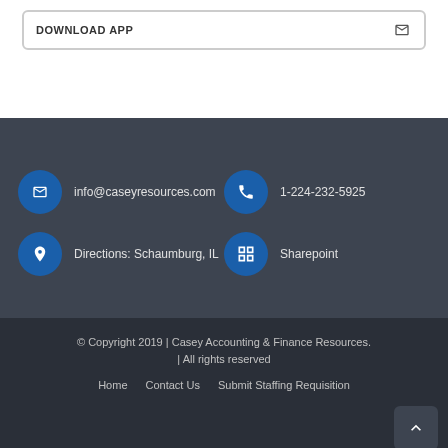DOWNLOAD APP (button/card with icon)
info@caseyresources.com
1-224-232-5925
Directions: Schaumburg, IL
Sharepoint
© Copyright 2019 | Casey Accounting & Finance Resources. | All rights reserved
Home   Contact Us   Submit Staffing Requisition